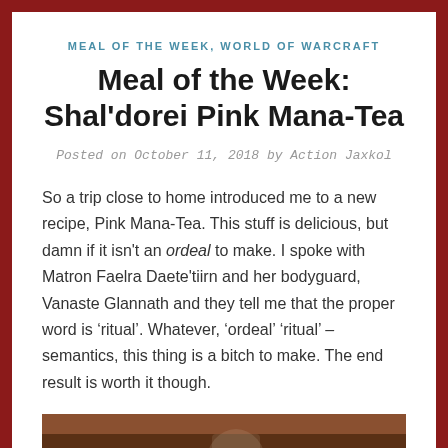MEAL OF THE WEEK, WORLD OF WARCRAFT
Meal of the Week: Shal'dorei Pink Mana-Tea
Posted on October 11, 2018 by Action Jaxkol
So a trip close to home introduced me to a new recipe, Pink Mana-Tea. This stuff is delicious, but damn if it isn't an ordeal to make. I spoke with Matron Faelra Daete'tiirn and her bodyguard, Vanaste Glannath and they tell me that the proper word is ‘ritual’. Whatever, ‘ordeal’ ‘ritual’ – semantics, this thing is a bitch to make. The end result is worth it though.
[Figure (photo): Bottom edge of a photo showing a wooden table surface with a glass container, partially visible]